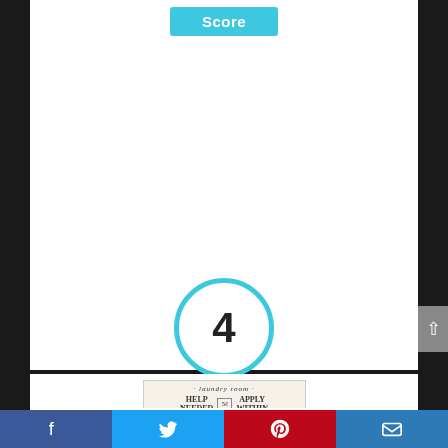Score
4
[Figure (photo): Laundry room wall plaque art sign reading: laundry room / HELP NEEDED [icon] APPLY WITHIN / wash · dry · fold → repeat →]
Stupell Home Décor Laundry Room Help Needed Apply Within Wall Plaque Art, 10 x 0.5 x 15, Proudly Made in USA
Facebook | Twitter | Pinterest | Email